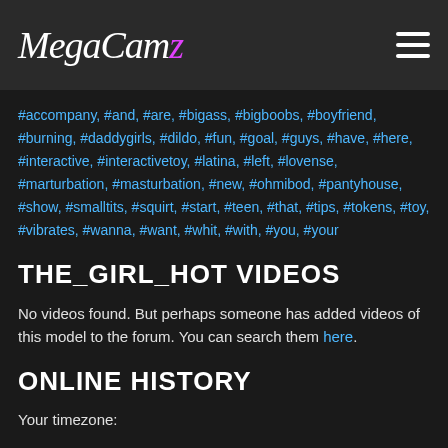MegaCamz
#accompany, #and, #are, #bigass, #bigboobs, #boyfriend, #burning, #daddygirls, #dildo, #fun, #goal, #guys, #have, #here, #interactive, #interactivetoy, #latina, #left, #lovense, #marturbation, #masturbation, #new, #ohmibod, #pantyhouse, #show, #smalltits, #squirt, #start, #teen, #that, #tips, #tokens, #toy, #vibrates, #wanna, #want, #whit, #with, #you, #your
THE_GIRL_HOT VIDEOS
No videos found. But perhaps someone has added videos of this model to the forum. You can search them here.
ONLINE HISTORY
Your timezone: